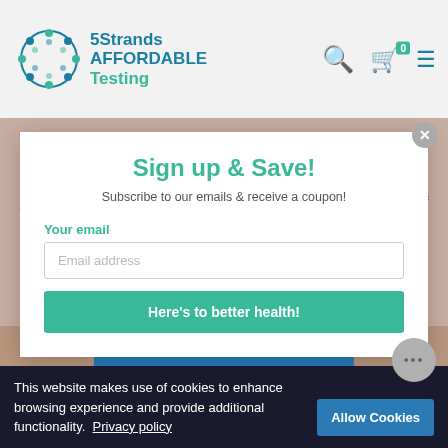[Figure (logo): 5Strands Affordable Testing logo with circular DNA strand graphic and brand name]
form of assessment for energetic alignments in the human body.
All particles of matter share the characteristics of both
Sign up & Save!
Subscribe to our emails & receive a coupon!
Your email
Email address
Here's to better health!
How Our Testing Works →
This website makes use of cookies to enhance browsing experience and provide additional functionality.  Privacy policy
Allow Cookies